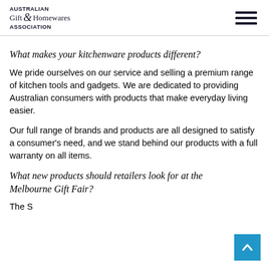AUSTRALIAN Gift & Homewares ASSOCIATION
What makes your kitchenware products different?
We pride ourselves on our service and selling a premium range of kitchen tools and gadgets. We are dedicated to providing Australian consumers with products that make everyday living easier.
Our full range of brands and products are all designed to satisfy a consumer's need, and we stand behind our products with a full warranty on all items.
What new products should retailers look for at the Melbourne Gift Fair?
The Sydney...